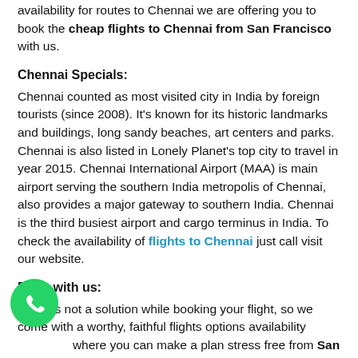availability for routes to Chennai we are offering you to book the cheap flights to Chennai from San Francisco with us.
Chennai Specials:
Chennai counted as most visited city in India by foreign tourists (since 2008). It's known for its historic landmarks and buildings, long sandy beaches, art centers and parks. Chennai is also listed in Lonely Planet's top city to travel in year 2015. Chennai International Airport (MAA) is main airport serving the southern India metropolis of Chennai, also provides a major gateway to southern India. Chennai is the third busiest airport and cargo terminus in India. To check the availability of flights to Chennai just call visit our website.
Book with us:
Panic is not a solution while booking your flight, so we come with a worthy, faithful flights options availability where you can make a plan stress free from San Francisco Chennai Flights, So Chennai is no far anymore as fantasy. Book faithfully on FlyDealFare.com; get
[Figure (logo): WhatsApp green circular icon with white phone handset]